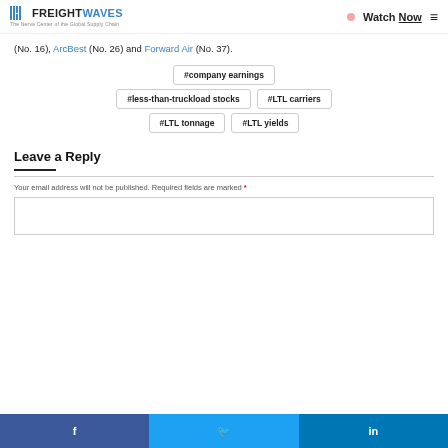FREIGHTWAVES — The Nerve Center of the Global Supply Chain | Watch Now
(No. 16), ArcBest (No. 26) and Forward Air (No. 37).
#company earnings
#less-than-truckload stocks
#LTL carriers
#LTL tonnage
#LTL yields
Leave a Reply
Your email address will not be published. Required fields are marked *